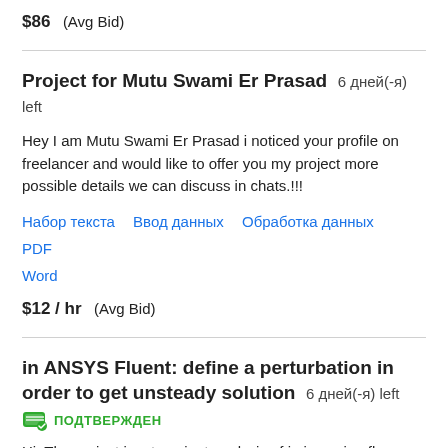$86  (Avg Bid)
Project for Mutu Swami Er Prasad  6 дней(-я) left
Hey I am Mutu Swami Er Prasad i noticed your profile on freelancer and would like to offer you my project more possible details we can discuss in chats.!!!
Набор текста   Ввод данных   Обработка данных   PDF   Word
$12 / hr  (Avg Bid)
in ANSYS Fluent: define a perturbation in order to get unsteady solution  6 дней(-я) left
ПОДТВЕРЖДЕН
Hi, The project is a transient analysis of in incoming flow around what is called a tabbed plate. You need to get the UNSTEADY solution, for that you need to define a